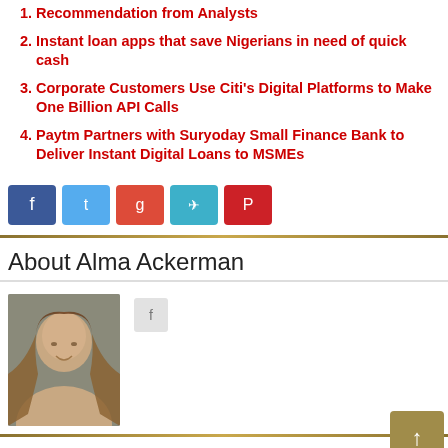Recommendation from Analysts
Instant loan apps that save Nigerians in need of quick cash
Corporate Customers Use Citi's Digital Platforms to Make One Billion API Calls
Paytm Partners with Suryoday Small Finance Bank to Deliver Instant Digital Loans to MSMEs
[Figure (infographic): Social sharing buttons: Facebook (dark blue), Twitter (light blue), Google+ (orange-red), Telegram (teal), Pinterest (red)]
About Alma Ackerman
[Figure (photo): Portrait photo of Alma Ackerman, a young woman with long brown hair, smiling, against a dark background]